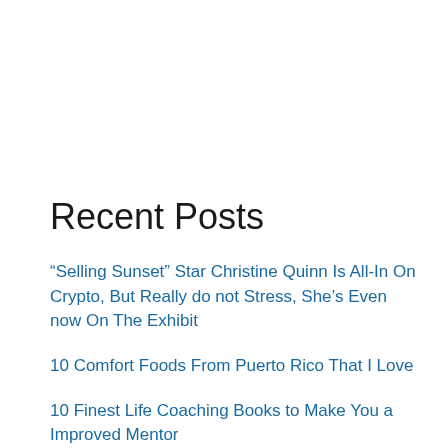Recent Posts
“Selling Sunset” Star Christine Quinn Is All-In On Crypto, But Really do not Stress, She’s Even now On The Exhibit
10 Comfort Foods From Puerto Rico That I Love
10 Finest Life Coaching Books to Make You a Improved Mentor
10 Finest Nutritional vitamins For Vitality (For Adult men And Women of all ages)
10 Ideas For Dating A Solitary Mother or father
10 Most effective Panini Presses To Up grade Your Sandwich Match
10 Necessary Cooking Suggestions For Everyone With A